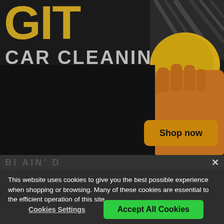[Figure (screenshot): Car cleaning website hero banner showing large gold letters partially cropped at top, 'CAR CLEANING' text in grey, a hand in an orange glove holding a yellow sponge/cloth against a dark background, and a 'Shop now' button in amber/gold color.]
This website uses cookies to give you the best possible experience when shopping or browsing. Many of these cookies are essential to the efficient operation of this site.
Cookies Settings
Accept All Cookies